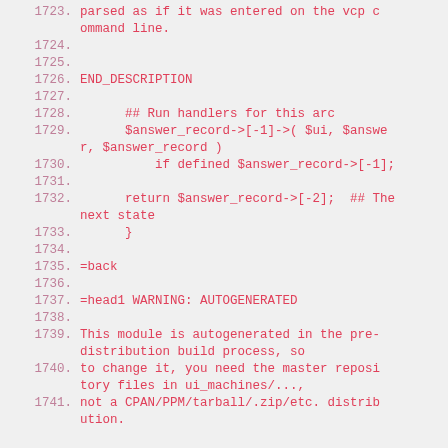1723. parsed as if it was entered on the vcp command line.
1724.
1725.
1726. END_DESCRIPTION
1727.
1728.     ## Run handlers for this arc
1729.     $answer_record->[-1]->( $ui, $answer, $answer_record )
1730.         if defined $answer_record->[-1];
1731.
1732.     return $answer_record->[-2];  ## The next state
1733. }
1734.
1735. =back
1736.
1737. =head1 WARNING: AUTOGENERATED
1738.
1739. This module is autogenerated in the pre-distribution build process, so
1740. to change it, you need the master repository files in ui_machines/...,
1741. not a CPAN/PPM/tarball/.zip/etc. distribution.